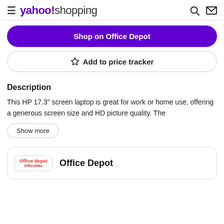yahoo!shopping
Shop on Office Depot
☆ Add to price tracker
Description
This HP 17.3" screen laptop is great for work or home use, offering a generous screen size and HD picture quality. The
Show more
Office Depot